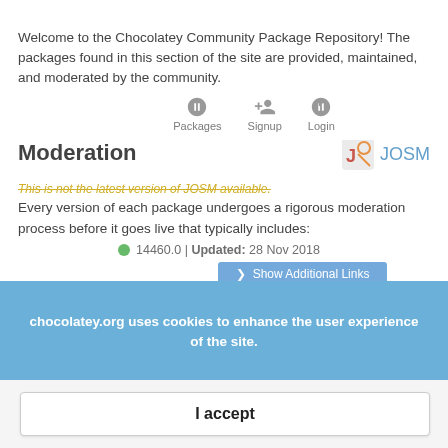Welcome to the Chocolatey Community Package Repository! The packages found in this section of the site are provided, maintained, and moderated by the community.
Moderation
[Figure (logo): JOSM logo with text 'JOSM']
This is not the latest version of JOSM available.
Every version of each package undergoes a rigorous moderation process before it goes live that typically includes:
14460.0 | Updated: 28 Nov 2018
Show Additional Links
Security, consistency, and quality checking
Installation testing
Virus checking through VirusTotal
Human moderators who give final review and sign
Downloads: 36,985   Downloads of v 14460.0: 239
chocolatey.org uses cookies to enhance the user experience of the site.
I accept